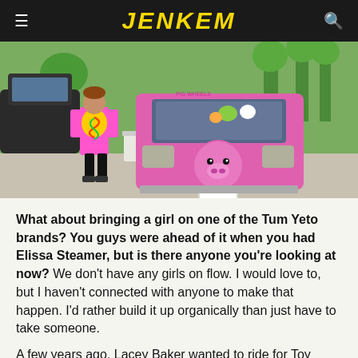JENKEM
[Figure (photo): A person in a colorful tie-dye shirt stands next to a pink van decorated with a pig face on the spare tire cover, parked in a park setting.]
What about bringing a girl on one of the Tum Yeto brands? You guys were ahead of it when you had Elissa Steamer, but is there anyone you're looking at now? We don't have any girls on flow. I would love to, but I haven't connected with anyone to make that happen. I'd rather build it up organically than just have to take someone.
A few years ago, Lacey Baker wanted to ride for Toy Machine. I can't remember what happened, but we had